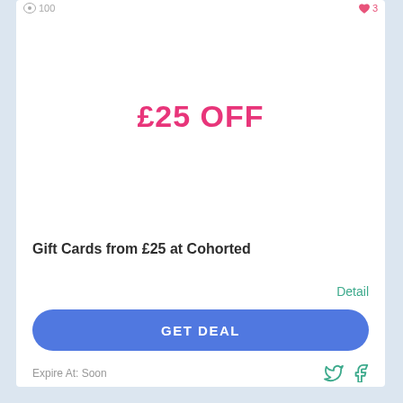100  3
£25 OFF
Gift Cards from £25 at Cohorted
Detail
GET DEAL
Expire At: Soon